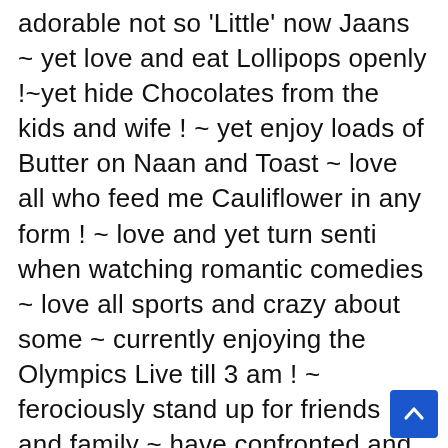adorable not so 'Little' now Jaans ~ yet love and eat Lollipops openly !~yet hide Chocolates from the kids and wife ! ~ yet enjoy loads of Butter on Naan and Toast ~ love all who feed me Cauliflower in any form ! ~ love and yet turn senti when watching romantic comedies ~ love all sports and crazy about some ~ currently enjoying the Olympics Live till 3 am ! ~ ferociously stand up for friends and family ~ have confronted and squashed hooliganism on streets ~ yet passionately attack Annual Reports and Companies to see if they pass the...
[Figure (other): Blue scroll-to-top button with upward chevron arrow in bottom-right corner]